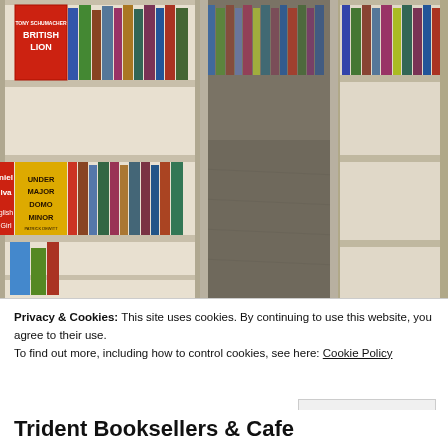[Figure (photo): Interior of a bookstore showing shelves of books. Visible book covers include 'The British Lion' by Tony Schumacher and 'Under Major Domo Minor' by Patrick deWitt. The floor has a dark patterned carpet.]
Privacy & Cookies: This site uses cookies. By continuing to use this website, you agree to their use.
To find out more, including how to control cookies, see here: Cookie Policy
Close and accept
Trident Booksellers & Cafe